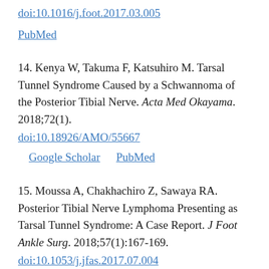doi:10.1016/j.foot.2017.03.005
PubMed
14. Kenya W, Takuma F, Katsuhiro M. Tarsal Tunnel Syndrome Caused by a Schwannoma of the Posterior Tibial Nerve. Acta Med Okayama. 2018;72(1). doi:10.18926/AMO/55667 Google Scholar PubMed
15. Moussa A, Chakhachiro Z, Sawaya RA. Posterior Tibial Nerve Lymphoma Presenting as Tarsal Tunnel Syndrome: A Case Report. J Foot Ankle Surg. 2018;57(1):167-169. doi:10.1053/j.jfas.2017.07.004